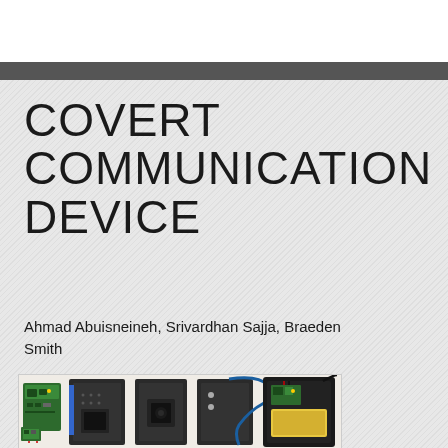COVERT COMMUNICATION DEVICE
Ahmad Abuisneineh, Srivardhan Sajja, Braeden Smith
[Figure (photo): Photo showing multiple stages of a covert communication device: a green PCB circuit board with components, dark rectangular enclosures, a device assembly with blue cable and wiring, and a completed black enclosure with battery and circuit board visible.]